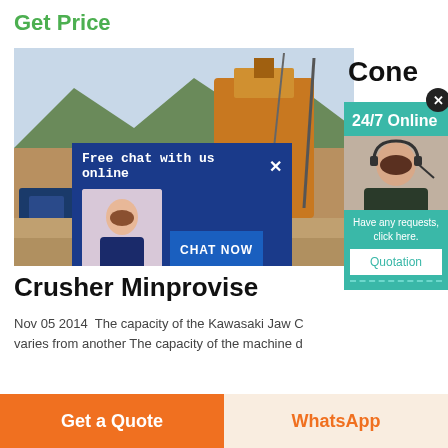Get Price
[Figure (screenshot): Screenshot of a webpage showing a crusher machine image with a 'Free chat with us online' popup overlay featuring a customer service representative, and a teal '24/7 Online' panel on the right with a close button and quotation option.]
Crusher Minprovise
Nov 05 2014  The capacity of the Kawasaki Jaw C varies from another The capacity of the machine d
Get a Quote
WhatsApp